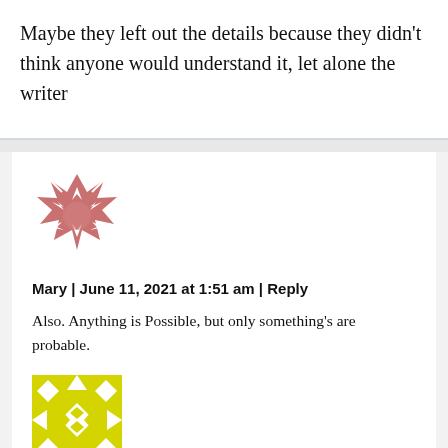Maybe they left out the details because they didn't think anyone would understand it, let alone the writer
[Figure (illustration): Pink/rose colored abstract spiky star-burst avatar image for user Mary]
Mary | June 11, 2021 at 1:51 am | Reply
Also. Anything is Possible, but only something's are probable.
[Figure (illustration): Yellow and white geometric quilt-pattern avatar image]
Enjoying the comments more than the article |